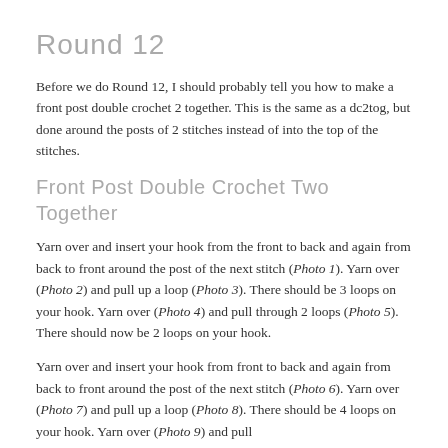Round 12
Before we do Round 12, I should probably tell you how to make a front post double crochet 2 together.  This is the same as a dc2tog, but done around the posts of 2 stitches instead of into the top of the stitches.
Front Post Double Crochet Two Together
Yarn over and insert your hook from the front to back and again from back to front around the post of the next stitch (Photo 1).  Yarn over (Photo 2) and pull up a loop (Photo 3).  There should be 3 loops on your hook.  Yarn over (Photo 4) and pull through 2 loops (Photo 5).  There should now be 2 loops on your hook.
Yarn over and insert your hook from front to back and again from back to front around the post of the next stitch (Photo 6).  Yarn over (Photo 7) and pull up a loop (Photo 8).  There should be 4 loops on your hook.  Yarn over (Photo 9) and pull